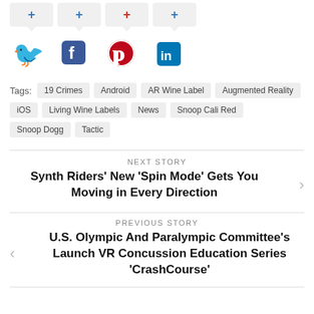[Figure (infographic): Social share buttons (plus icons) with speech bubble shape in light gray, and social media icons: Twitter (blue bird), Facebook (blue f), Pinterest (red P), LinkedIn (blue in)]
Tags: 19 Crimes, Android, AR Wine Label, Augmented Reality, iOS, Living Wine Labels, News, Snoop Cali Red, Snoop Dogg, Tactic
NEXT STORY
Synth Riders' New 'Spin Mode' Gets You Moving in Every Direction
PREVIOUS STORY
U.S. Olympic And Paralympic Committee's Launch VR Concussion Education Series 'CrashCourse'